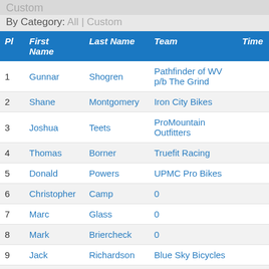Custom
By Category: All | Custom
| Pl | First Name | Last Name | Team | Time |
| --- | --- | --- | --- | --- |
| 1 | Gunnar | Shogren | Pathfinder of WV p/b The Grind |  |
| 2 | Shane | Montgomery | Iron City Bikes |  |
| 3 | Joshua | Teets | ProMountain Outfitters |  |
| 4 | Thomas | Borner | Truefit Racing |  |
| 5 | Donald | Powers | UPMC Pro Bikes |  |
| 6 | Christopher | Camp | 0 |  |
| 7 | Marc | Glass | 0 |  |
| 8 | Mark | Briercheck | 0 |  |
| 9 | Jack | Richardson | Blue Sky Bicycles |  |
| 10 | Kaden | Lohr | 0 |  |
| 11 | Roland | Sink | 0 |  |
| 12 | Kirk | Morrison | Ag3r-ButlerHealthSystem |  |
| 13 | Mathew | Bradbury | Campus Wheelworks |  |